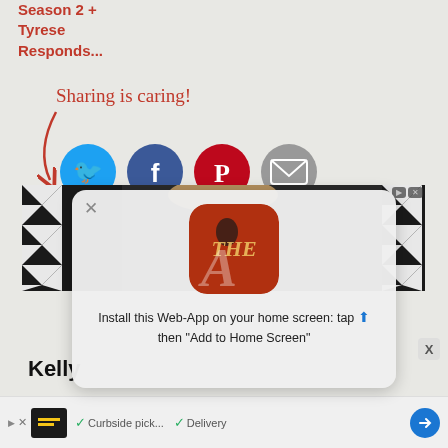Season 2 + Tyrese Responds...
[Figure (infographic): Sharing is caring! text with arrow and four social media sharing buttons: Twitter (blue bird), Facebook (blue f), Pinterest (red P), Email (grey envelope)]
[Figure (screenshot): Advertisement area with black and white geometric background showing a web app install prompt modal. The modal has a close X, an app icon for 'THE A' app showing an athlete, and text: Install this Web-App on your home screen: tap [share icon] then "Add to Home Screen"]
Kelly
Install this Web-App on your home screen: tap [share icon] then "Add to Home Screen"
Curbside pick... Delivery